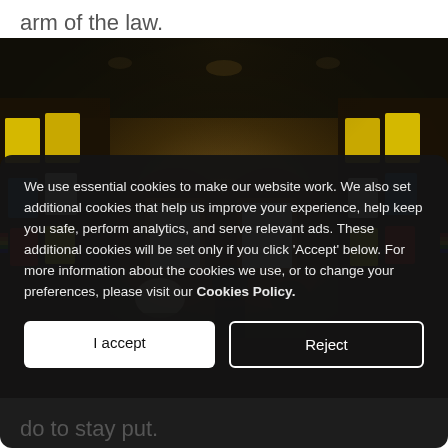arm of the law.
[Figure (photo): Interior of a sports memorabilia shop with framed jerseys and cycling-related items on the walls, people browsing in the background, warm dim lighting]
We use essential cookies to make our website work. We also set additional cookies that help us improve your experience, help keep you safe, perform analytics, and serve relevant ads. These additional cookies will be set only if you click 'Accept' below. For more information about the cookies we use, or to change your preferences, please visit our Cookies Policy.
I accept
Reject
do to stay put.